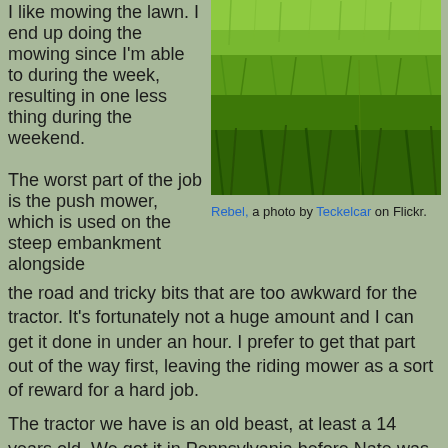I like mowing the lawn. I end up doing the mowing since I'm able to during the week, resulting in one less thing during the weekend.
[Figure (photo): Close-up photo of green grass lawn, taken at low angle showing grass blades with depth of field effect]
Rebel, a photo by Teckelcar on Flickr.
The worst part of the job is the push mower, which is used on the steep embankment alongside the road and tricky bits that are too awkward for the tractor. It's fortunately not a huge amount and I can get it done in under an hour. I prefer to get that part out of the way first, leaving the riding mower as a sort of reward for a hard job.
The tractor we have is an old beast, at least a 14 years old. We got it in Pennsylvania before Nate was born. Amusingly enough it was from a hardware store that also catered to the local Amish population. Horse and buggies tied to the provided fence were a common sight.